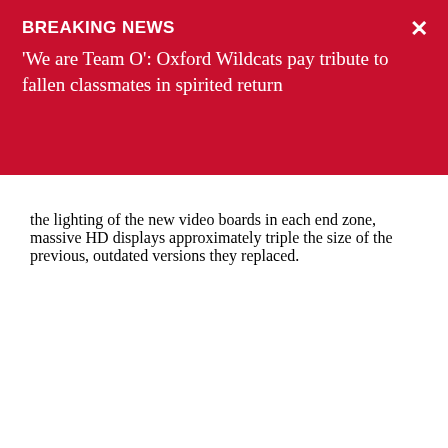BREAKING NEWS
'We are Team O': Oxford Wildcats pay tribute to fallen classmates in spirited return
the lighting of the new video boards in each end zone, massive HD displays approximately triple the size of the previous, outdated versions they replaced.
Advertisement